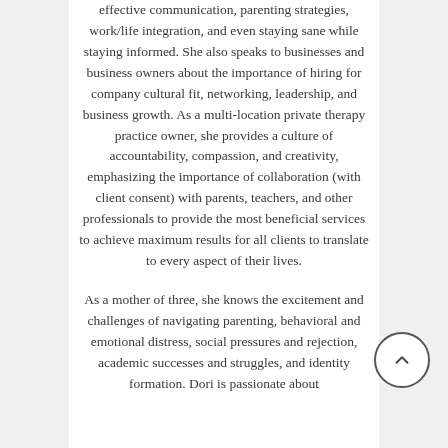effective communication, parenting strategies, work/life integration, and even staying sane while staying informed. She also speaks to businesses and business owners about the importance of hiring for company cultural fit, networking, leadership, and business growth. As a multi-location private therapy practice owner, she provides a culture of accountability, compassion, and creativity, emphasizing the importance of collaboration (with client consent) with parents, teachers, and other professionals to provide the most beneficial services to achieve maximum results for all clients to translate to every aspect of their lives.
As a mother of three, she knows the excitement and challenges of navigating parenting, behavioral and emotional distress, social pressures and rejection, academic successes and struggles, and identity formation. Dori is passionate about